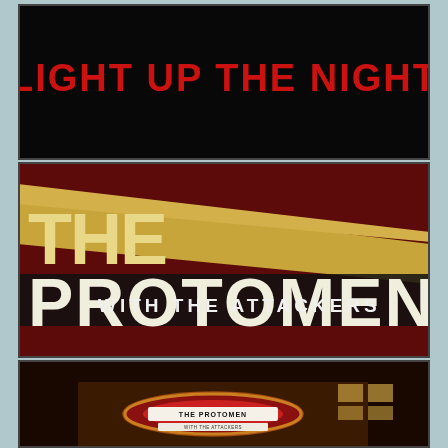[Figure (photo): Film strip panel 1: black background with red bold text reading LIGHT UP THE NIGHT]
[Figure (photo): Film strip panel 2: close-up of a theatre marquee sign reading THE PROTOMEN WITH THE ATTACKERS in gold and white letters on dark red background with gold stripe]
[Figure (photo): Film strip panel 3: exterior night view of a circular theatre marquee sign on a building reading THE PROTOMEN WITH THE ATTACKERS]